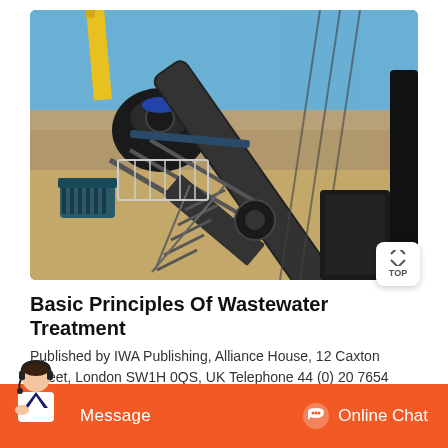[Figure (photo): Industrial wastewater treatment or mining/construction equipment facility showing conveyor belts, crushers, motors, metal staircases, and heavy machinery under a clear blue sky.]
Basic Principles Of Wastewater Treatment
Published by IWA Publishing, Alliance House, 12 Caxton Street, London SW1H 0QS, UK Telephone 44 (0) 20 7654 5500 Fax 44 (0)